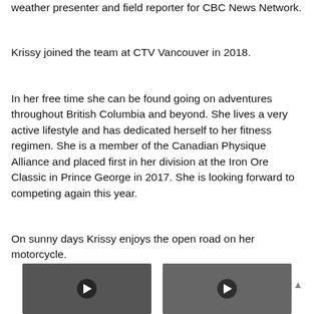weather presenter and field reporter for CBC News Network.
Krissy joined the team at CTV Vancouver in 2018.
In her free time she can be found going on adventures throughout British Columbia and beyond. She lives a very active lifestyle and has dedicated herself to her fitness regimen. She is a member of the Canadian Physique Alliance and placed first in her division at the Iron Ore Classic in Prince George in 2017. She is looking forward to competing again this year.
On sunny days Krissy enjoys the open road on her motorcycle.
Back to Top ▲
[Figure (photo): Video thumbnail showing interior of a vehicle]
[Figure (photo): Video thumbnail showing a golden Labrador dog outdoors]